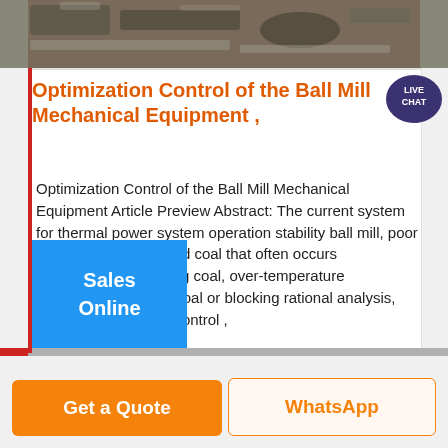[Figure (photo): Industrial machinery / ball mill equipment photograph at the top of the page]
Optimization Control of the Ball Mill Mechanical Equipment ,
[Figure (other): Live Chat speech bubble icon with text LIVE CHAT in dark purple/navy]
Optimization Control of the Ball Mill Mechanical Equipment Article Preview Abstract: The current system for thermal power system operation stability ball mill, poor uniformity of pulverized coal that often occurs overpressure, breaking coal, over-temperature phenomena such as coal or blocking rational analysis, the use of predictive control ,
[Figure (other): Blue Sales Online button]
Get a Quote
WhatsApp